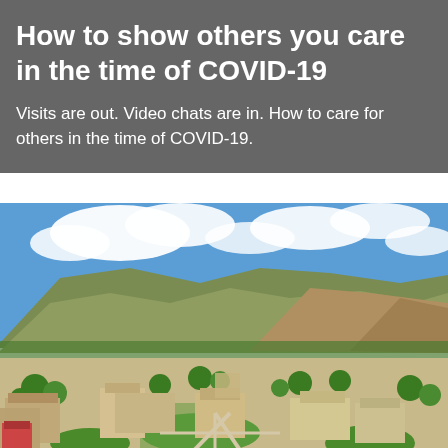How to show others you care in the time of COVID-19
Visits are out. Video chats are in. How to care for others in the time of COVID-19.
[Figure (photo): Aerial view of a university campus with mountains in the background, green trees, academic buildings, and blue sky with white clouds. Likely the University of Utah campus.]